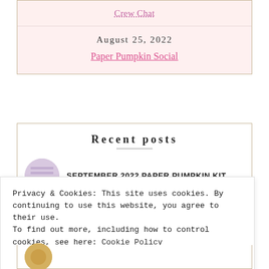Crew Chat
August 25, 2022
Paper Pumpkin Social
Recent posts
SEPTEMBER 2022 PAPER PUMPKIN KIT
Privacy & Cookies: This site uses cookies. By continuing to use this website, you agree to their use.
To find out more, including how to control cookies, see here: Cookie Policy
Close and accept